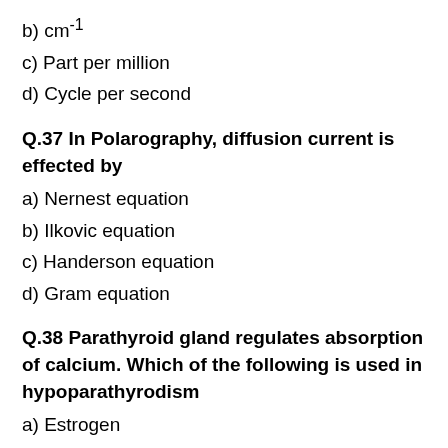b) cm⁻¹
c) Part per million
d) Cycle per second
Q.37 In Polarography, diffusion current is effected by
a) Nernest equation
b) Ilkovic equation
c) Handerson equation
d) Gram equation
Q.38 Parathyroid gland regulates absorption of calcium. Which of the following is used in hypoparathyrodism
a) Estrogen
b) Liothyroxine
c) Prednisolone
d) Dihydrotachysterol